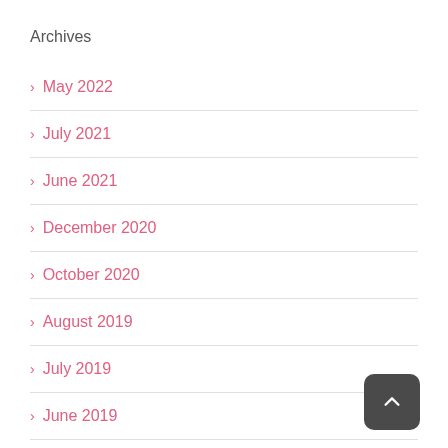Archives
May 2022
July 2021
June 2021
December 2020
October 2020
August 2019
July 2019
June 2019